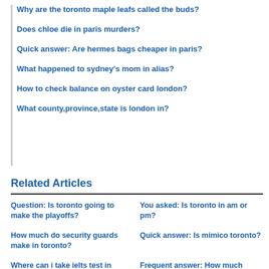Why are the toronto maple leafs called the buds?
Does chloe die in paris murders?
Quick answer: Are hermes bags cheaper in paris?
What happened to sydney's mom in alias?
How to check balance on oyster card london?
What county,province,state is london in?
Related Articles
Question: Is toronto going to make the playoffs?
You asked: Is toronto in am or pm?
How much do security guards make in toronto?
Quick answer: Is mimico toronto?
Where can i take ielts test in
Frequent answer: How much